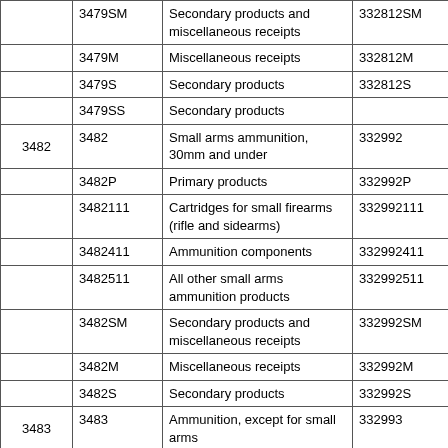|  |  | Description |  |
| --- | --- | --- | --- |
|  | 3479SM | Secondary products and miscellaneous receipts | 332812SM |
|  | 3479M | Miscellaneous receipts | 332812M |
|  | 3479S | Secondary products | 332812S |
|  | 3479SS | Secondary products |  |
| 3482 | 3482 | Small arms ammunition, 30mm and under | 332992 |
|  | 3482P | Primary products | 332992P |
|  | 3482111 | Cartridges for small firearms (rifle and sidearms) | 332992111 |
|  | 3482411 | Ammunition components | 332992411 |
|  | 3482511 | All other small arms ammunition products | 332992511 |
|  | 3482SM | Secondary products and miscellaneous receipts | 332992SM |
|  | 3482M | Miscellaneous receipts | 332992M |
|  | 3482S | Secondary products | 332992S |
| 3483 | 3483 | Ammunition, except for small arms | 332993 |
|  | 3483P | Primary products | 332993P |
|  | 34831 | Artillery ammunition and component parts, over 30mm (or | 332993I |